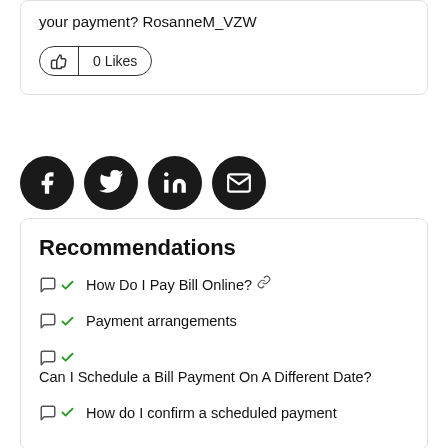your payment? RosanneM_VZW
[Figure (other): Thumbs up like button showing 0 Likes]
[Figure (other): Social media share icons: Facebook, Twitter, LinkedIn, Email]
Recommendations
How Do I Pay Bill Online?
Payment arrangements
Can I Schedule a Bill Payment On A Different Date?
How do I confirm a scheduled payment